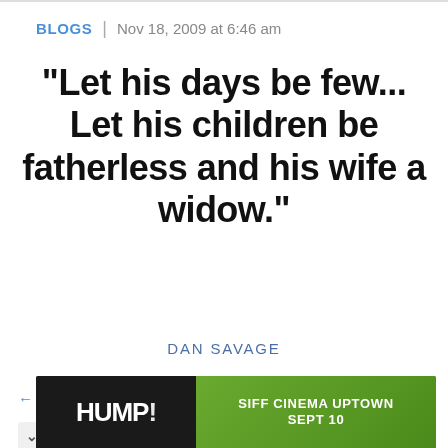BLOGS | Nov 18, 2009 at 6:46 am
"Let his days be few... Let his children be fatherless and his wife a widow."
DAN SAVAGE
← Back to article
Comments
[Figure (photo): Advertisement banner for HUMP! at SIFF Cinema Uptown Sept 10]